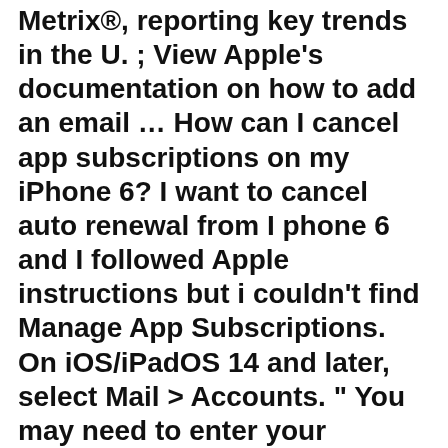Metrix®, reporting key trends in the U. ; View Apple's documentation on how to add an email … How can I cancel app subscriptions on my iPhone 6? I want to cancel auto renewal from I phone 6 and I followed Apple instructions but i couldn't find Manage App Subscriptions. On iOS/iPadOS 14 and later, select Mail > Accounts. " You may need to enter your password or use Touch ID or Face ID to log into your account. smartphone industry for March 2015. It achieves this not with a slew of … Open the Settings app and tap the Notifications category to see which apps have permission to send you notifications. Scroll down and tap on (Purchase History, Enabled by...